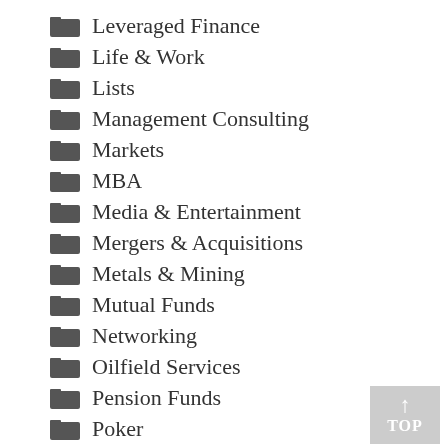Leveraged Finance
Life & Work
Lists
Management Consulting
Markets
MBA
Media & Entertainment
Mergers & Acquisitions
Metals & Mining
Mutual Funds
Networking
Oilfield Services
Pension Funds
Poker
Power & Utilities